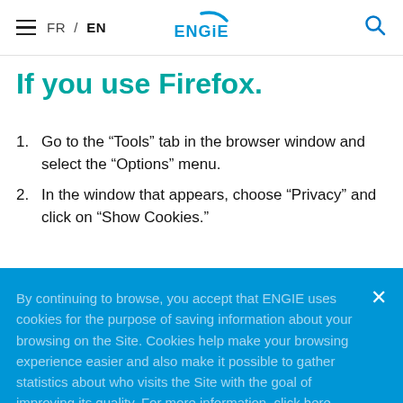FR / EN  ENGIE  [search]
If you use Firefox.
Go to the “Tools” tab in the browser window and select the “Options” menu.
In the window that appears, choose “Privacy” and click on “Show Cookies.”
By continuing to browse, you accept that ENGIE uses cookies for the purpose of saving information about your browsing on the Site. Cookies help make your browsing experience easier and also make it possible to gather statistics about who visits the Site with the goal of improving its quality. For more information, click here.
Consult cookies policy